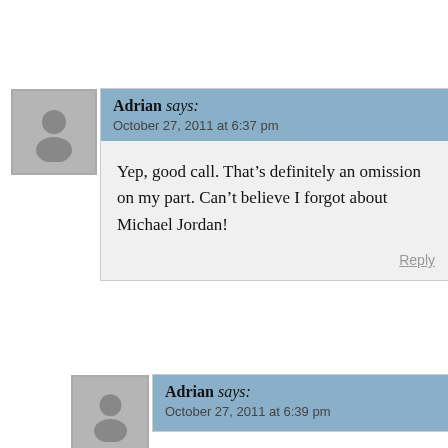Adrian says: October 27, 2011 at 6:37 pm
Yep, good call. That’s definitely an omission on my part. Can’t believe I forgot about Michael Jordan!
Reply
Adrian says: October 27, 2011 at 6:39 pm